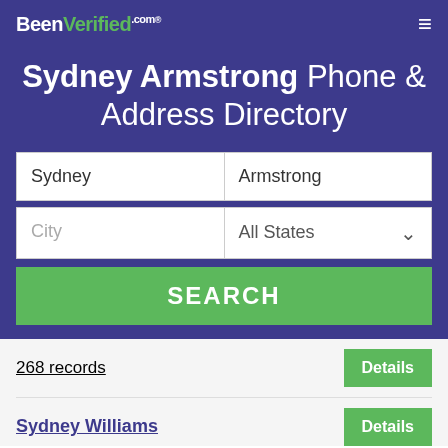BeenVerified.com
Sydney Armstrong Phone & Address Directory
[Figure (screenshot): Search form with fields for first name (Sydney), last name (Armstrong), City, and All States dropdown, plus a SEARCH button]
268 records
Sydney Williams